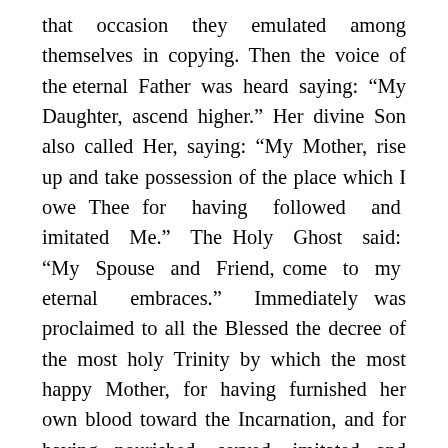that occasion they emulated among themselves in copying. Then the voice of the eternal Father was heard saying: “My Daughter, ascend higher.” Her divine Son also called Her, saying: “My Mother, rise up and take possession of the place which I owe Thee for having followed and imitated Me.” The Holy Ghost said: “My Spouse and Friend, come to my eternal embraces.” Immediately was proclaimed to all the Blessed the decree of the most holy Trinity by which the most happy Mother, for having furnished her own blood toward the Incarnation, and for having nourished, served, imitated and followed Him with all the perfection possible to a creature, was exalted and placed at the right hand of her Son for all eternity. No one else in the human race could ever hold that place or position, nor rival Her in the unfailing glory connected with